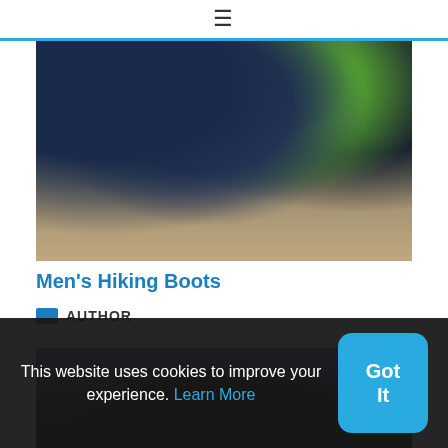≡
[Figure (photo): Close-up photo of multiple hiking boots on rocky ground, including dark blue/black boots and a green boot/sock visible]
Men's Hiking Boots
AUTHOR
[Figure (photo): Outdoor rocky landscape photo with a person partially visible among rocks]
This website uses cookies to improve your experience. Learn More
Got It